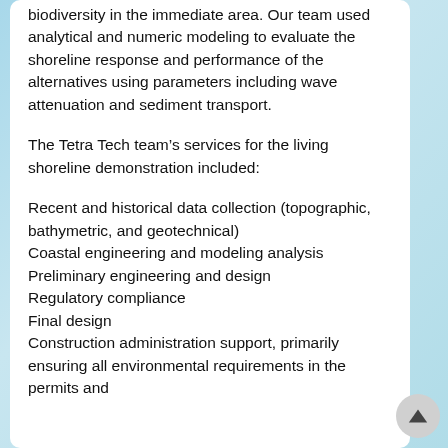biodiversity in the immediate area. Our team used analytical and numeric modeling to evaluate the shoreline response and performance of the alternatives using parameters including wave attenuation and sediment transport.
The Tetra Tech team's services for the living shoreline demonstration included:
Recent and historical data collection (topographic, bathymetric, and geotechnical)
Coastal engineering and modeling analysis
Preliminary engineering and design
Regulatory compliance
Final design
Construction administration support, primarily ensuring all environmental requirements in the permits and